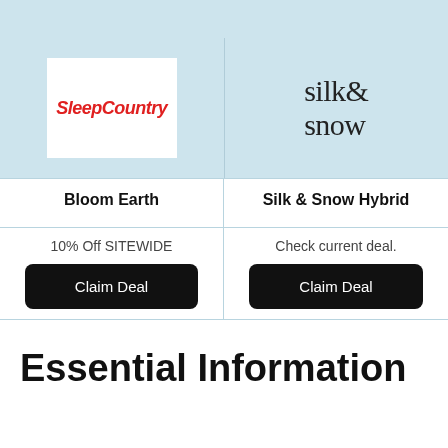[Figure (logo): SleepCountry logo in red italic bold font on white background]
[Figure (logo): silk& snow logo in serif black text]
Bloom Earth
Silk & Snow Hybrid
10% Off SITEWIDE
Check current deal.
Claim Deal
Claim Deal
Essential Information